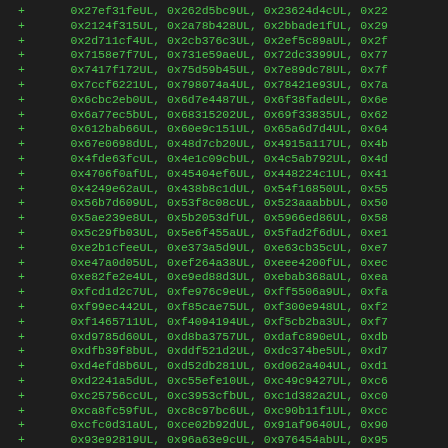+     0x27ef31feUL, 0x262d5bc9UL, 0x23624d4cUL, 0x22
+     0x2124f315UL, 0x2a78b428UL, 0x2bbade1fUL, 0x29
+     0x2d711cf4UL, 0x2cb376c3UL, 0x2ef5c89aUL, 0x2f
+     0x7158e7f7UL, 0x731e59aeUL, 0x72dc3399UL, 0x77
+     0x7417f172UL, 0x75d59b45UL, 0x7e89dc78UL, 0x7f
+     0x7ccf6221UL, 0x798074a4UL, 0x78421e93UL, 0x7a
+     0x6cbc2eb0UL, 0x6d7e4487UL, 0x6f38fadeUL, 0x6e
+     0x6a77ec5bUL, 0x68315202UL, 0x69f33835UL, 0x62
+     0x612bab66UL, 0x60e9c151UL, 0x65a6d7d4UL, 0x64
+     0x67e0698dUL, 0x48d7cb20UL, 0x4915a117UL, 0x4b
+     0x4fde63fcUL, 0x4e1c09cbUL, 0x4c5ab792UL, 0x4d
+     0x4706f0afUL, 0x45404ef6UL, 0x448224c1UL, 0x41
+     0x4249e62aUL, 0x438b8c1dUL, 0x54f16850UL, 0x55
+     0x56b7d609UL, 0x53f8c08cUL, 0x523aaabbUL, 0x50
+     0x5ae239e8UL, 0x5b2053dfUL, 0x5966ed86UL, 0x58
+     0x5c29fb03UL, 0x5e6f455aUL, 0x5fad2f6dUL, 0xe1
+     0xe2b1cfeeUL, 0xe373a5d9UL, 0xe63cb35cUL, 0xe7
+     0xe47a0d05UL, 0xef264a38UL, 0xeee4200fUL, 0xec
+     0xe82fe2e4UL, 0xe9ed88d3UL, 0xebab368aUL, 0xea
+     0xfcd1d2c7UL, 0xfe976c9eUL, 0xff5506a9UL, 0xfa
+     0xf99ec442UL, 0xf85cae75UL, 0xf300e948UL, 0xf2
+     0xf1465711UL, 0xf4094194UL, 0xf5cb2ba3UL, 0xf7
+     0xd9785d60UL, 0xd8ba3757UL, 0xdafc890eUL, 0xdb
+     0xdfb39f8bUL, 0xddf521d2UL, 0xdc374be5UL, 0xd7
+     0xd4efd8b6UL, 0xd52db281UL, 0xd062a404UL, 0xd1
+     0xd2241a5dUL, 0xc55efe10UL, 0xc49c9427UL, 0xc6
+     0xc25756ccUL, 0xc3953cfbUL, 0xc1d382a2UL, 0xc0
+     0xca8fc59fUL, 0xc8c97bc6UL, 0xc90b11f1UL, 0xcc
+     0xcfc0d31aUL, 0xce02b92dUL, 0x91af9640UL, 0x90
+     0x93e92819UL, 0x96a63e9cUL, 0x976454abUL, 0x95